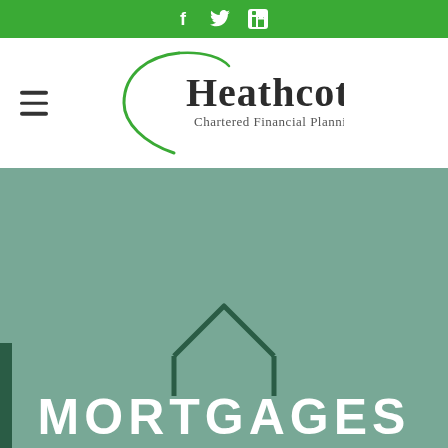Social media icons: Facebook, Twitter, LinkedIn
[Figure (logo): Heathcote Chartered Financial Planning logo with green swoosh/bracket design and hamburger menu icon]
[Figure (illustration): Sage green hero background with dark green house/building outline icons and MORTGAGES text at bottom in white bold capital letters]